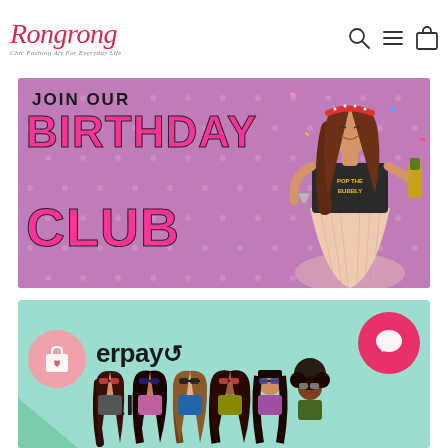[Figure (logo): Rongrong logo in red cursive script with tagline 'Chic Fashion Art For Everyday Life']
[Figure (illustration): Navigation icons: search magnifier, hamburger menu, and shopping bag]
[Figure (illustration): Banner: 'JOIN OUR BIRTHDAY CLUB' on purple polka-dot background with illustrated fashion girl holding champagne glass wearing 'POP THE BUBBLY' shirt]
[Figure (illustration): Banner: Afterpay logo with arrows on mint/teal background, shopping bag circle icon on left, pink chat bubble circle on right, row of illustrated girls at bottom right]